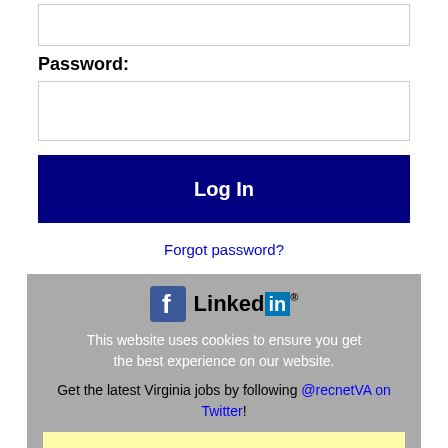(input field — top, partially visible)
Password:
(password input field)
Log In
Forgot password?
[Figure (logo): Facebook icon and LinkedIn logo]
This website uses cookies to ensure you get the best experience on our website.
Get the latest Virginia jobs by following @recnetVA on Twitter!
Newport News RSS job feeds